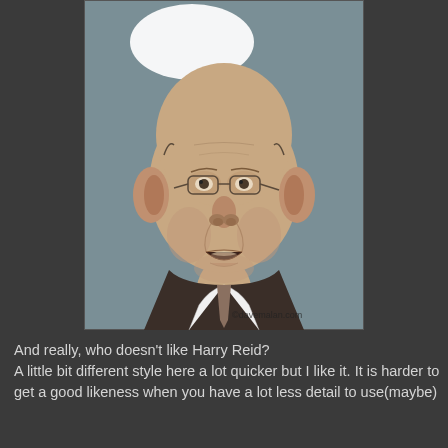[Figure (illustration): Caricature illustration of Harry Reid — an elderly man with an oversized bald head, large protruding ears, small wire-rimmed glasses, a frowning expression with mouth slightly open, wearing a dark suit and white shirt/tie. A large white speech bubble appears above his head. Watermark reads '©davemalan.com' in the lower right of the illustration. The image has a grey-blue background.]
And really, who doesn't like Harry Reid?
A little bit different style here a lot quicker but I like it. It is harder to get a good likeness when you have a lot less detail to use(maybe)